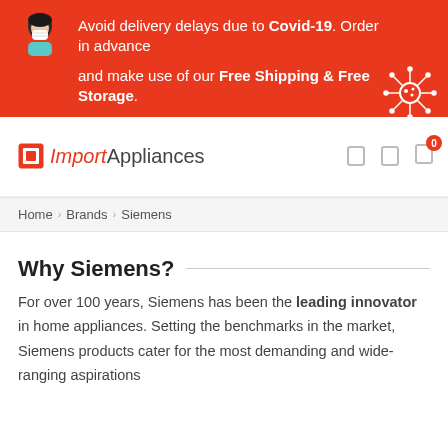[Figure (infographic): Red banner with Covid-19 delivery delay notice, showing a masked woman icon and a virus illustration. Text: 'Avoid delivery delays due to Covid-19. Order in advance and make use of our Free Shipping & Free Storage.']
[Figure (logo): ImportAppliances logo with orange square icon and italic 'Import' in orange followed by 'Appliances' in dark gray. Navigation icons for search, user, and cart (with badge showing 0) on the right.]
Home › Brands › Siemens
Why Siemens?
For over 100 years, Siemens has been the leading innovator in home appliances. Setting the benchmarks in the market, Siemens products cater for the most demanding and wide-ranging aspirations